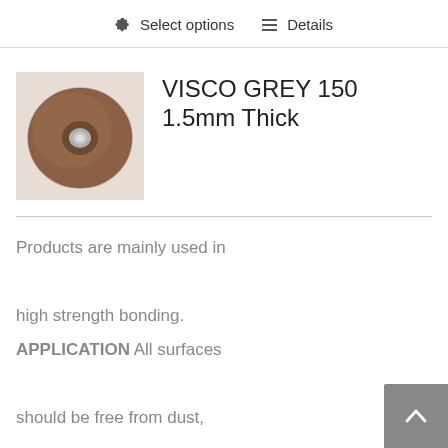⚙ Select options  ☰ Details
[Figure (photo): A circular brown/copper-colored washer or disc with a metal eyelet in the center, viewed from above on a white background.]
VISCO GREY 150 1.5mm Thick
Products are mainly used in high strength bonding. APPLICATION All surfaces should be free from dust, grease, oil, loose mortar and